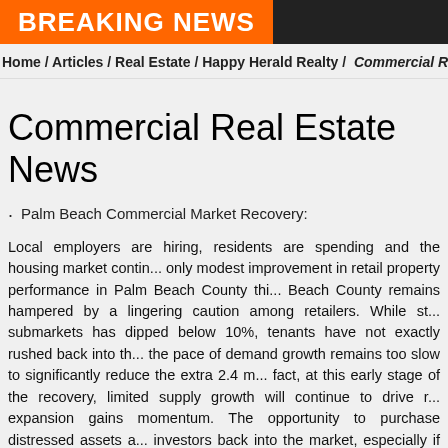BREAKING NEWS
Home / Articles / Real Estate / Happy Herald Realty / Commercial R...
Commercial Real Estate News
Palm Beach Commercial Market Recovery:
Local employers are hiring, residents are spending and the housing market contin... only modest improvement in retail property performance in Palm Beach County thi... Beach County remains hampered by a lingering caution among retailers. While st... submarkets has dipped below 10%, tenants have not exactly rushed back into th... the pace of demand growth remains too slow to significantly reduce the extra 2.4 m... fact, at this early stage of the recovery, limited supply growth will continue to drive r... expansion gains momentum. The opportunity to purchase distressed assets a... investors back into the market, especially if tenant mixes include national chain... institutions start around 7%, but cap rates in excess of 8% are more typical of lesse...
Forecast
Employment: